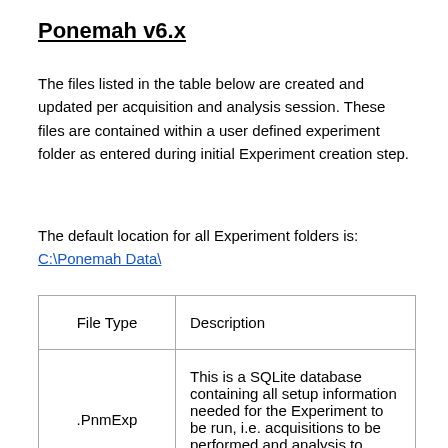Ponemah v6.x
The files listed in the table below are created and updated per acquisition and analysis session. These files are contained within a user defined experiment folder as entered during initial Experiment creation step.
The default location for all Experiment folders is:
C:\Ponemah Data\
| File Type | Description |
| --- | --- |
| .PnmExp | This is a SQLite database containing all setup information needed for the Experiment to be run, i.e. acquisitions to be performed and analysis to occur. |